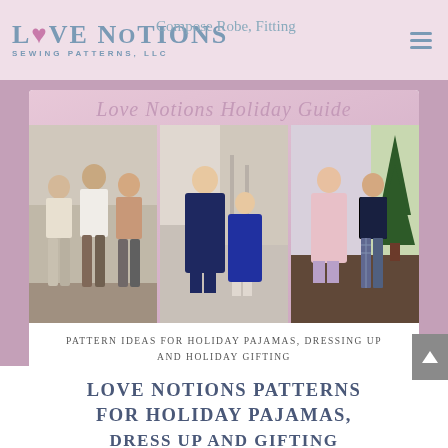Love Notions Sewing Patterns, LLC — Compose Robe, Fitting
[Figure (photo): Love Notions Holiday Guide promotional image showing three photos: a man and two boys in pajamas, a mother and daughter in navy holiday dresses, and two girls with one wearing a pink robe. Text overlay reads: Pattern ideas for holiday pajamas, dressing up and holiday gifting]
LOVE NOTIONS PATTERNS FOR HOLIDAY PAJAMAS, DRESS UP AND GIFTING